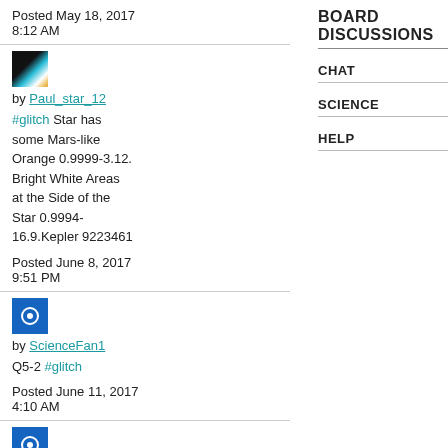Posted May 18, 2017 8:12 AM
[Figure (photo): Small avatar image with star/space colors (black, teal, white, orange)]
by Paul_star_12
#glitch Star has some Mars-like Orange 0.9999-3.12. Bright White Areas at the Side of the Star 0.9994-16.9.Kepler 9223461
Posted June 8, 2017 9:51 PM
[Figure (photo): Small blue square avatar with circular icon]
by ScienceFan1
Q5-2 #glitch
Posted June 11, 2017 4:10 AM
[Figure (photo): Small blue square avatar]
BOARD DISCUSSIONS
CHAT
SCIENCE
HELP